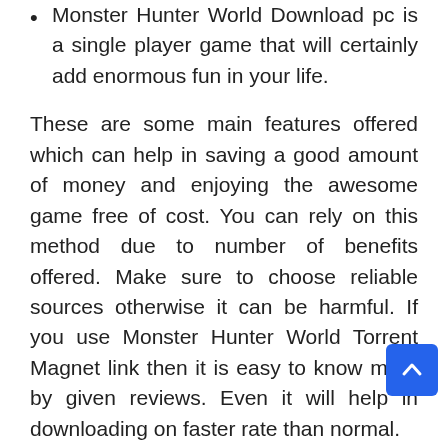Monster Hunter World Download pc is a single player game that will certainly add enormous fun in your life.
These are some main features offered which can help in saving a good amount of money and enjoying the awesome game free of cost. You can rely on this method due to number of benefits offered. Make sure to choose reliable sources otherwise it can be harmful. If you use Monster Hunter World Torrent Magnet link then it is easy to know more by given reviews. Even it will help in downloading on faster rate than normal.
Monster Hunter: World